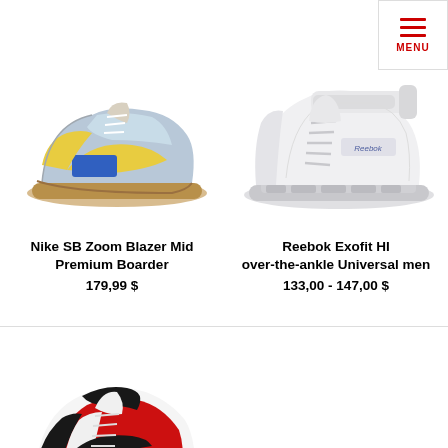[Figure (photo): Nike SB Zoom Blazer Mid Premium Boarder sneaker - colorful high-top with blue, yellow and light blue patches]
Nike SB Zoom Blazer Mid Premium Boarder
179,99 $
[Figure (photo): Reebok Exofit HI over-the-ankle Universal men sneaker - all white high-top]
Reebok Exofit HI over-the-ankle Universal men
133,00 - 147,00 $
[Figure (photo): Nike high-top sneaker in red, white and black colorway]